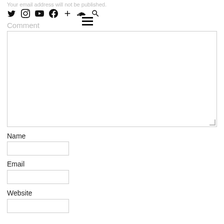Your email address will not be published.
Social icons: Twitter, Instagram, YouTube, Facebook, Plus, SoundCloud, Search, Hamburger menu
Comment
[Figure (screenshot): Large empty comment textarea with resize handle]
Name
[Figure (screenshot): Name input field (empty)]
Email
[Figure (screenshot): Email input field (empty)]
Website
[Figure (screenshot): Website input field (empty, partially visible)]